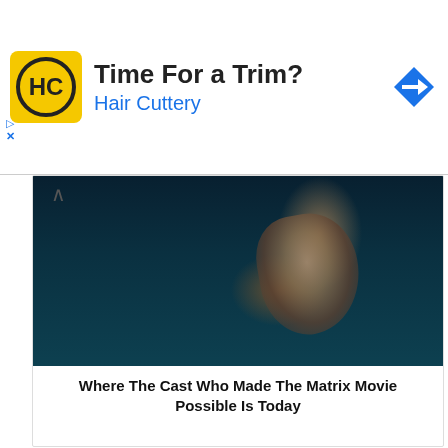[Figure (screenshot): Hair Cuttery advertisement banner with yellow logo, 'Time For a Trim?' headline, 'Hair Cuttery' subtitle in blue, and a blue diamond arrow icon on the right. Small 'ad' triangle and 'X' close icons on the left.]
[Figure (photo): Dark cinematic movie still from The Matrix showing a hand against a dark teal background. Has an upward chevron/caret UI element in upper left.]
Where The Cast Who Made The Matrix Movie Possible Is Today
[Figure (photo): Woman wearing a leopard-print face mask and olive/green dress sitting on a dark blue couch with a laptop, in a plant-filled modern co-working space with pendant globe lights and an upper mezzanine visible.]